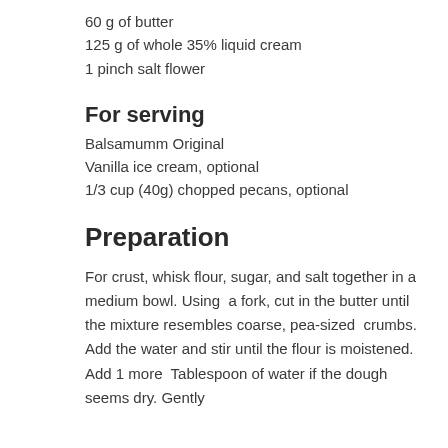60 g of butter
125 g of whole 35% liquid cream
1 pinch salt flower
For serving
Balsamumm Original
Vanilla ice cream, optional
1/3 cup (40g) chopped pecans, optional
Preparation
For crust, whisk flour, sugar, and salt together in a medium bowl. Using  a fork, cut in the butter until the mixture resembles coarse, pea-sized  crumbs. Add the water and stir until the flour is moistened. Add 1 more  Tablespoon of water if the dough seems dry. Gently